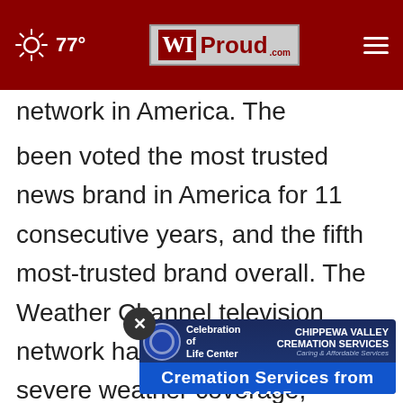77° WIProud.com
network in America. The Weather channel has been voted the most trusted news brand in America for 11 consecutive years, and the fifth most-trusted brand overall. The Weather Channel television network has been the leader in severe weather coverage, providing the most comprehensive analysis of any media outlet and serving as the nation's only 24-hour source of national storm coverage. With trusted meteorologists who analyze, forecast and report...d. In 2021 and 2019, The Weather Channel won
[Figure (other): Advertisement banner for Celebration of Life Center - Chippewa Valley Cremation Services. Text reads: 'Cremation Services from $1495'. Blue background with circular logo.]